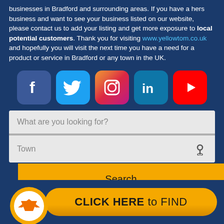businesses in Bradford and surrounding areas. If you have a hers business and want to see your business listed on our website, please contact us to add your listing and get more exposure to local potential customers. Thank you for visiting www.yellowtom.co.uk and hopefully you will visit the next time you have a need for a product or service in Bradford or any town in the UK.
[Figure (infographic): Five social media icons: Facebook, Twitter, Instagram, LinkedIn, YouTube]
[Figure (screenshot): Search widget with 'What are you looking for?' input field, 'Town' input with location icon, and yellow 'Search' button]
[Figure (infographic): Orange call-to-action button with circular logo icon saying 'CLICK HERE to FIND']